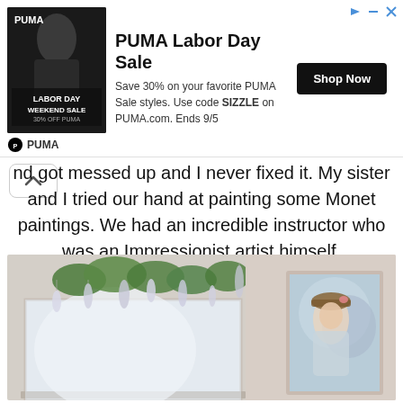[Figure (infographic): PUMA Labor Day Weekend Sale advertisement banner with athlete photo, PUMA logo, ad title 'PUMA Labor Day Sale', body text 'Save 30% on your favorite PUMA Sale styles. Use code SIZZLE on PUMA.com. Ends 9/5', and a 'Shop Now' button.]
nd got messed up and I never fixed it. My sister and I tried our hand at painting some Monet paintings. We had an incredible instructor who was an Impressionist artist himself.
[Figure (photo): Interior room photo showing a window with decorative hanging crystal/spoon ornaments and greenery above it, and a framed Impressionist-style portrait painting of a girl in a hat on the right wall.]